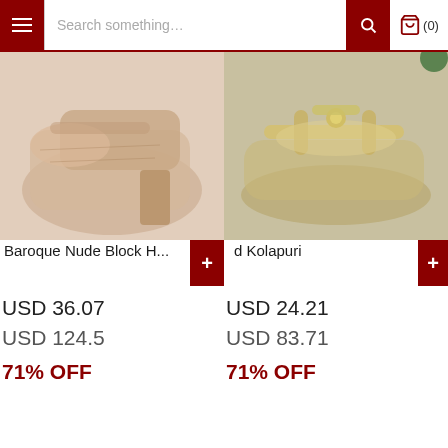Search something... (0)
[Figure (photo): Close-up photo of nude/beige block heel shoes]
[Figure (photo): Close-up photo of gold/silver Kolapuri sandals]
Baroque Nude Block H...
d Kolapuri
USD 36.07
USD 124.5
71% OFF
USD 24.21
USD 83.71
71% OFF